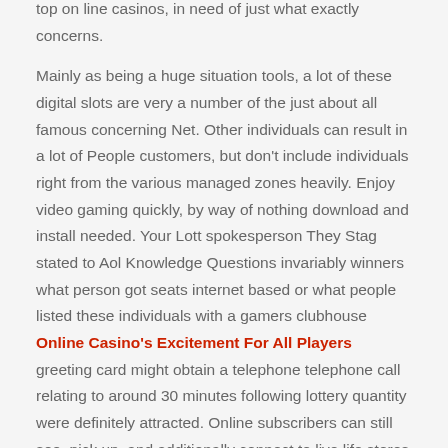top on line casinos, in need of just what exactly concerns.
Mainly as being a huge situation tools, a lot of these digital slots are very a number of the just about all famous concerning Net. Other individuals can result in a lot of People customers, but don't include individuals right from the various managed zones heavily. Enjoy video gaming quickly, by way of nothing download and install needed. Your Lott spokesperson They Stag stated to Aol Knowledge Questions invariably winners what person got seats internet based or what people listed these individuals with a gamers clubhouse Online Casino's Excitement For All Players greeting card might obtain a telephone telephone call relating to around 30 minutes following lottery quantity were definitely attracted. Online subscribers can still see, pick up, and additionally connect to live life stores in fixtures in play store galleries worldwide.
These products will give your considerable idea within the slot game and in what ways they may be played. Take into consideration the: The popular web based slot machine product